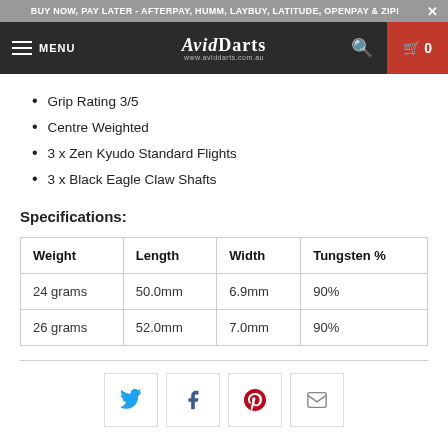BUY NOW, PAY LATER - AFTERPAY, HUMM, LAYBUY, LATITUDE, OPENPAY & ZIP!
MENU — AvidDarts — www.aviddarts.com.au — 0
Grip Rating 3/5
Centre Weighted
3 x Zen Kyudo Standard Flights
3 x Black Eagle Claw Shafts
Specifications:
| Weight | Length | Width | Tungsten % |
| --- | --- | --- | --- |
| 24 grams | 50.0mm | 6.9mm | 90% |
| 26 grams | 52.0mm | 7.0mm | 90% |
[Figure (infographic): Social sharing buttons for Twitter, Facebook, Pinterest, and Email]